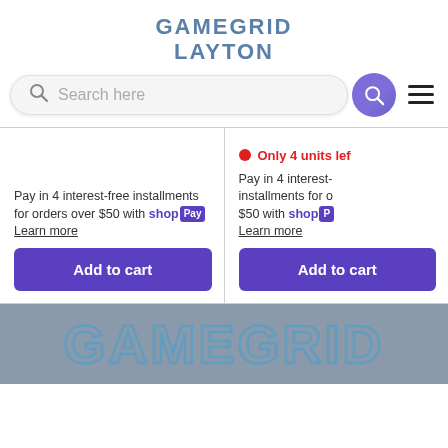GAMEGRID LAYTON
[Figure (screenshot): Search bar with purple search button and hamburger menu]
Only 4 units lef
Pay in 4 interest-free installments for orders over $50 with Shop Pay Learn more
Pay in 4 interest- installments for o $50 with Shop P Learn more
[Figure (screenshot): Add to cart button (left card)]
[Figure (screenshot): Add to cart button (right card)]
GAMEGRID